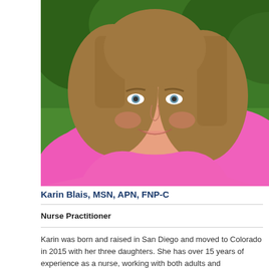[Figure (photo): Professional headshot of Karin Blais, a woman with shoulder-length brown hair wearing a bright pink top, smiling, with green trees in the background.]
Karin Blais, MSN, APN, FNP-C
Nurse Practitioner
Karin was born and raised in San Diego and moved to Colorado in 2015 with her three daughters. She has over 15 years of experience as a nurse, working with both adults and